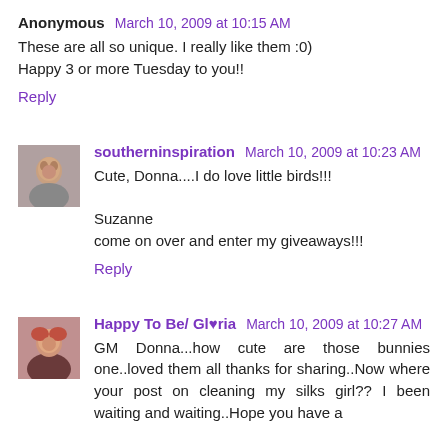Anonymous March 10, 2009 at 10:15 AM
These are all so unique. I really like them :0)
Happy 3 or more Tuesday to you!!
Reply
southerninspiration March 10, 2009 at 10:23 AM
Cute, Donna....I do love little birds!!!

Suzanne
come on over and enter my giveaways!!!
Reply
Happy To Be/ Gl♥ria March 10, 2009 at 10:27 AM
GM Donna...how cute are those bunnies one..loved them all thanks for sharing..Now where your post on cleaning my silks girl?? I been waiting and waiting..Hope you have a great day..lots of good clean fun..smiles..Gloria